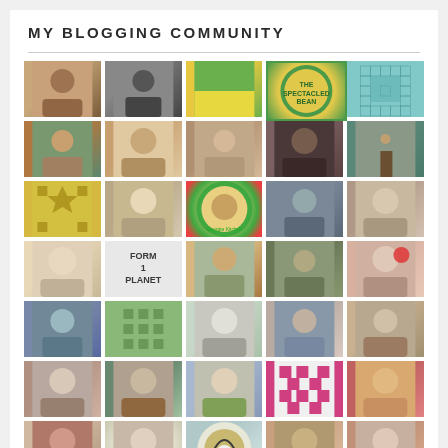MY BLOGGING COMMUNITY
[Figure (photo): Grid of 35+ profile photos and avatar icons representing blogging community members, arranged in a 5-column grid layout]